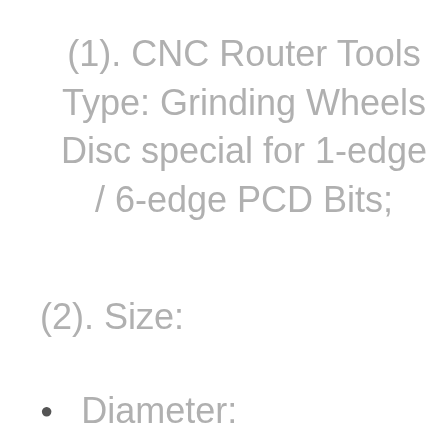(1). CNC Router Tools Type: Grinding Wheels Disc special for 1-edge / 6-edge PCD Bits;
(2). Size:
Diameter: